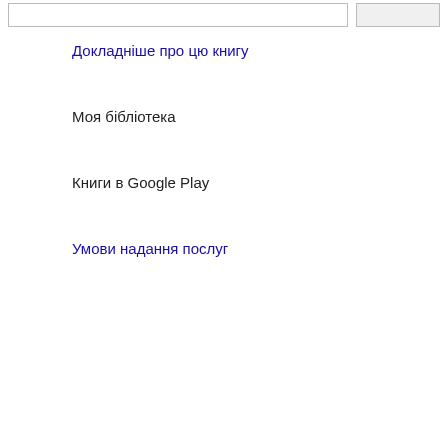Докладніше про цю книгу
Моя бібліотека
Книги в Google Play
Умови надання послуг
laborers, those who obeyed fired
The Syndicalists are leading th parliamentary action.
Somebody Try It. I believe the Socialism at the same time. The think it was, and asked the owne weeks before and sold 18 or 20 d the books could have been sold i that the bankers, lawyers, doctor Socialism, and that it was no tro
Now, why can't a few comrade "Common Sense," or of "Sociali shome degree of ability as canva
I believe any bright man or wo now and make a record as a pion the well-to-do trade. You will be Foundation of Society" when yo a general sale.